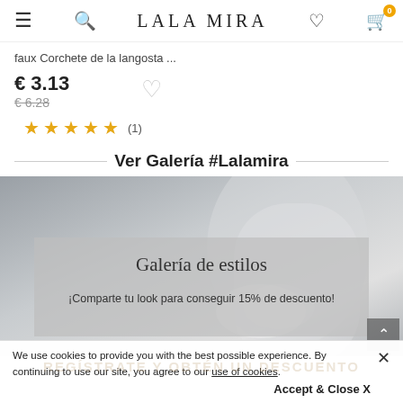LALA MIRA
faux Corchete de la langosta ...
€ 3.13
€ 6.28
★★★★★ (1)
Ver Galería #Lalamira
[Figure (photo): Wedding photo gallery banner with semi-transparent overlay showing 'Galería de estilos' and '¡Comparte tu look para conseguir 15% de descuento!']
We use cookies to provide you with the best possible experience. By continuing to use our site, you agree to our use of cookies.
Accept & Close X